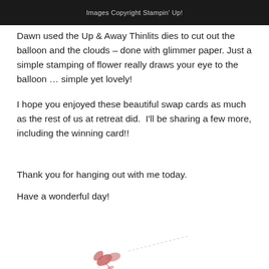Images Copyright Stampin' Up!
Dawn used the Up & Away Thinlits dies to cut out the balloon and the clouds – done with glimmer paper. Just a simple stamping of flower really draws your eye to the balloon … simple yet lovely!
I hope you enjoyed these beautiful swap cards as much as the rest of us at retreat did.  I'll be sharing a few more, including the winning card!!
Thank you for hanging out with me today.
Have a wonderful day!
[Figure (illustration): Decorative signature stamp illustration with small floral/leaf motif in pinkish-red color with dotted line accent]